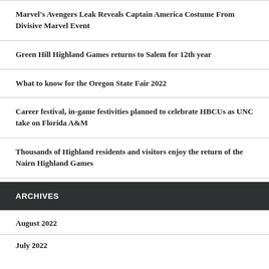Marvel's Avengers Leak Reveals Captain America Costume From Divisive Marvel Event
Green Hill Highland Games returns to Salem for 12th year
What to know for the Oregon State Fair 2022
Career festival, in-game festivities planned to celebrate HBCUs as UNC take on Florida A&M
Thousands of Highland residents and visitors enjoy the return of the Nairn Highland Games
ARCHIVES
August 2022
July 2022